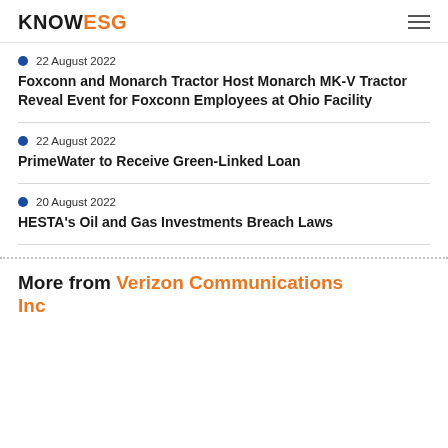KNOWESG
22 August 2022
Foxconn and Monarch Tractor Host Monarch MK-V Tractor Reveal Event for Foxconn Employees at Ohio Facility
22 August 2022
PrimeWater to Receive Green-Linked Loan
20 August 2022
HESTA's Oil and Gas Investments Breach Laws
More from Verizon Communications Inc